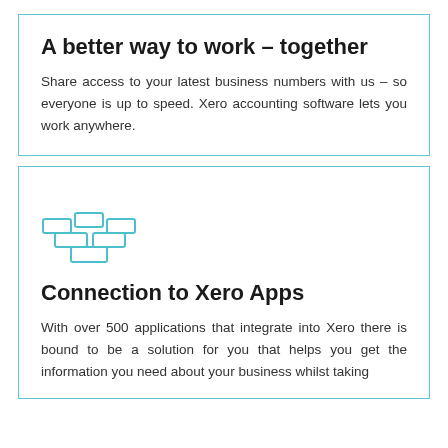A better way to work – together
Share access to your latest business numbers with us – so everyone is up to speed. Xero accounting software lets you work anywhere.
[Figure (illustration): Icon of stacked gold bars / ingots drawn in teal/blue outline style]
Connection to Xero Apps
With over 500 applications that integrate into Xero there is bound to be a solution for you that helps you get the information you need about your business whilst taking